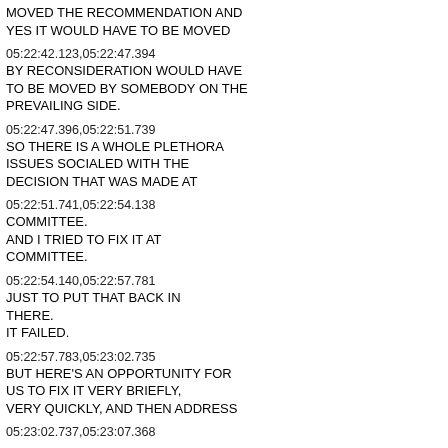MOVED THE RECOMMENDATION AND YES IT WOULD HAVE TO BE MOVED
05:22:42.123,05:22:47.394
BY RECONSIDERATION WOULD HAVE TO BE MOVED BY SOMEBODY ON THE PREVAILING SIDE.
05:22:47.396,05:22:51.739
SO THERE IS A WHOLE PLETHORA ISSUES SOCIALED WITH THE DECISION THAT WAS MADE AT
05:22:51.741,05:22:54.138
COMMITTEE.
AND I TRIED TO FIX IT AT COMMITTEE.
05:22:54.140,05:22:57.781
JUST TO PUT THAT BACK IN THERE.
IT FAILED.
05:22:57.783,05:23:02.735
BUT HERE'S AN OPPORTUNITY FOR US TO FIX IT VERY BRIEFLY, VERY QUICKLY, AND THEN ADDRESS
05:23:02.737,05:23:07.368